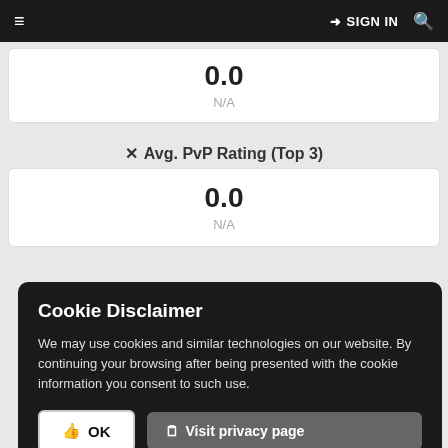≡  →] SIGN IN  🔍
0.0
N/A
✕ Avg. PvP Rating (Top 3)
0.0
N/A
Cookie Disclaimer

We may use cookies and similar technologies on our website. By continuing your browsing after being presented with the cookie information you consent to such use.

OK   Visit privacy page
Azgalor, US